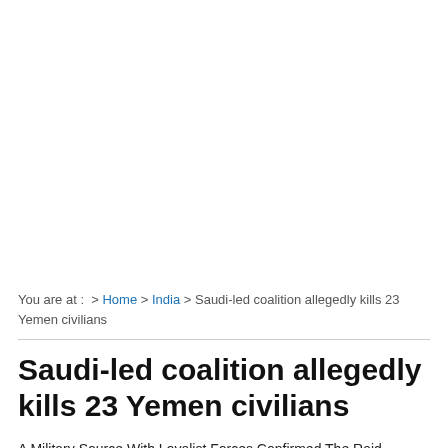You are at : > Home > India > Saudi-led coalition allegedly kills 23 Yemen civilians
Saudi-led coalition allegedly kills 23 Yemen civilians
A Military Source With Loyalist Forces Confirmed The Raid, Saying 20 Civilians Had Died And Said It Appeared To Have Been The Saudi-led Air Force strike.